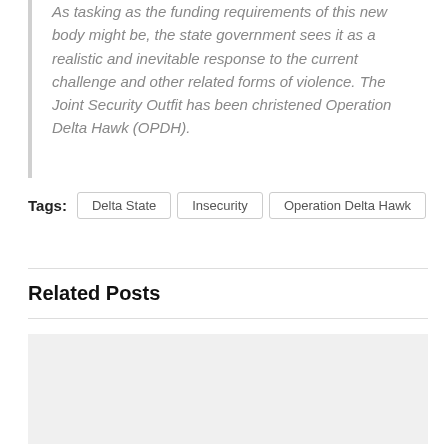As tasking as the funding requirements of this new body might be, the state government sees it as a realistic and inevitable response to the current challenge and other related forms of violence. The Joint Security Outfit has been christened Operation Delta Hawk (OPDH).
Tags: Delta State  Insecurity  Operation Delta Hawk
Related Posts
[Figure (photo): Gray placeholder image box for a related post thumbnail]